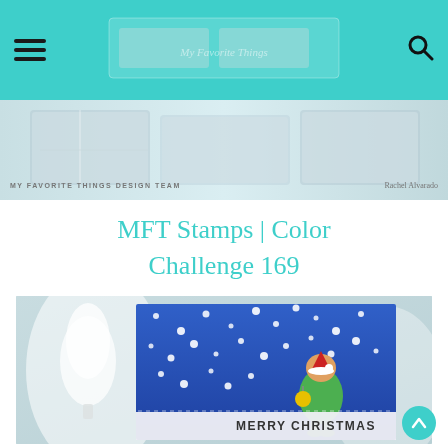Navigation bar with hamburger menu, search icon, and teal background with center banner image
[Figure (photo): My Favorite Things Design Team banner image with text 'MY FAVORITE THINGS DESIGN TEAM' on left and 'Rachel Alvarado' on right]
MFT Stamps | Color Challenge 169
[Figure (photo): Christmas card featuring an elf character wearing a green outfit and Santa hat holding a gold ornament, standing on a blue snowy background with white dots. White Christmas tree on left side. 'MERRY CHRISTMAS' text at bottom of card.]